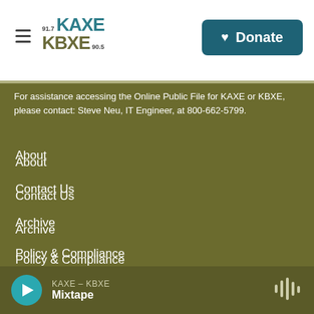KAXE 91.7 / KBXE 90.5 – Donate
For assistance accessing the Online Public File for KAXE or KBXE, please contact: Steve Neu, IT Engineer, at 800-662-5799.
About
Contact Us
Archive
Policy & Compliance
KAXE Public File
KBXE Public File
KAXE – KBXE Mixtape